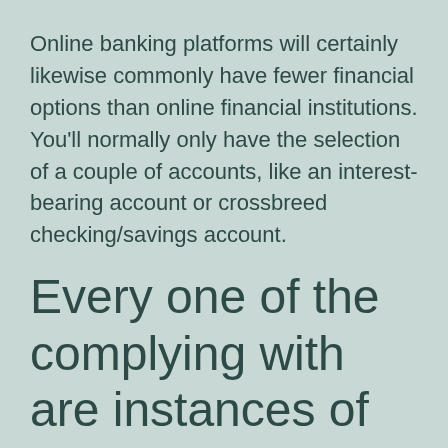Online banking platforms will certainly likewise commonly have fewer financial options than online financial institutions. You’ll normally only have the selection of a couple of accounts, like an interest-bearing account or crossbreed checking/savings account.
Every one of the complying with are instances of electronic banking systems: